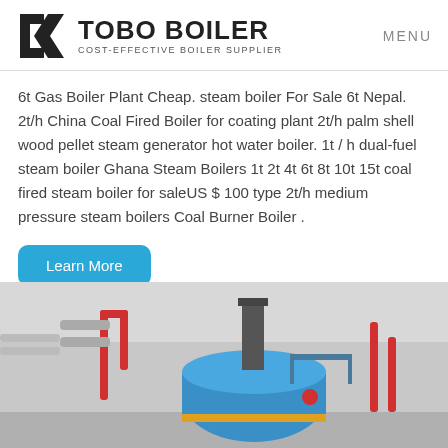TOBO BOILER — COST-EFFECTIVE BOILER SUPPLIER | MENU
6t Gas Boiler Plant Cheap. steam boiler For Sale 6t Nepal. 2t/h China Coal Fired Boiler for coating plant 2t/h palm shell wood pellet steam generator hot water boiler. 1t / h dual-fuel steam boiler Ghana Steam Boilers 1t 2t 4t 6t 8t 10t 15t coal fired steam boiler for saleUS $ 100 type 2t/h medium pressure steam boilers Coal Burner Boiler .
Learn More
[Figure (photo): Industrial boiler room showing a large blue boiler with red and silver pipes, chimney stack, and metal access walkway]